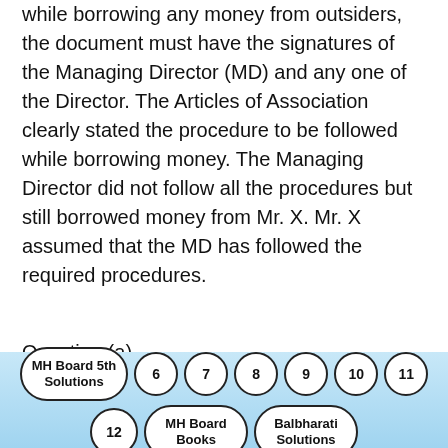while borrowing any money from outsiders, the document must have the signatures of the Managing Director (MD) and any one of the Director. The Articles of Association clearly stated the procedure to be followed while borrowing money. The Managing Director did not follow all the procedures but still borrowed money from Mr. X. Mr. X assumed that the MD has followed the required procedures.
Question (a).
Can the MD be held punishable for his act?
Answer:
He can be held liable for his actions and can
MH Board 5th Solutions  6  7  8  9  10  11  12  MH Board Books  Balbharati Solutions